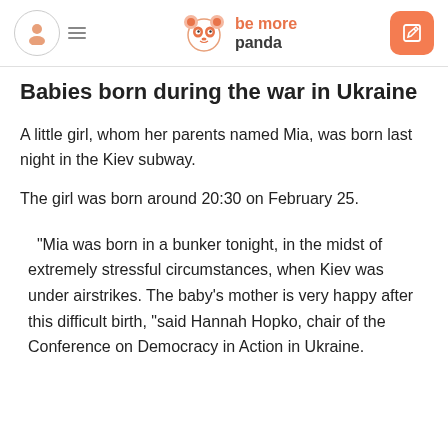be more panda
Babies born during the war in Ukraine
A little girl, whom her parents named Mia, was born last night in the Kiev subway.
The girl was born around 20:30 on February 25.
"Mia was born in a bunker tonight, in the midst of extremely stressful circumstances, when Kiev was under airstrikes. The baby’s mother is very happy after this difficult birth, "said Hannah Hopko, chair of the Conference on Democracy in Action in Ukraine.